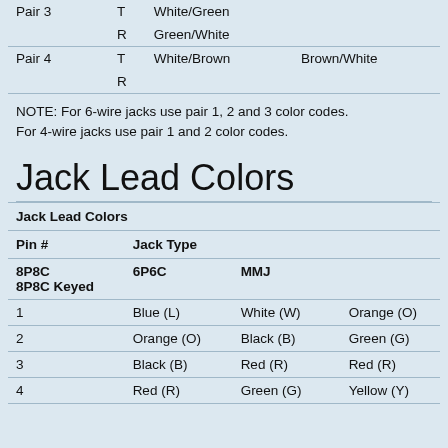|  |  | Color 1 | Color 2 |
| --- | --- | --- | --- |
| Pair 3 | T | White/Green |  |
|  | R | Green/White |  |
| Pair 4 | T | White/Brown | Brown/White |
|  | R |  |  |
NOTE: For 6-wire jacks use pair 1, 2 and 3 color codes.
For 4-wire jacks use pair 1 and 2 color codes.
Jack Lead Colors
| Jack Lead Colors |  |  |  |
| --- | --- | --- | --- |
| Pin # | Jack Type |  |  |
| 8P8C
8P8C Keyed | 6P6C | MMJ |  |
| 1 | Blue (L) | White (W) | Orange (O) |
| 2 | Orange (O) | Black (B) | Green (G) |
| 3 | Black (B) | Red (R) | Red (R) |
| 4 | Red (R) | Green (G) | Yellow (Y) |